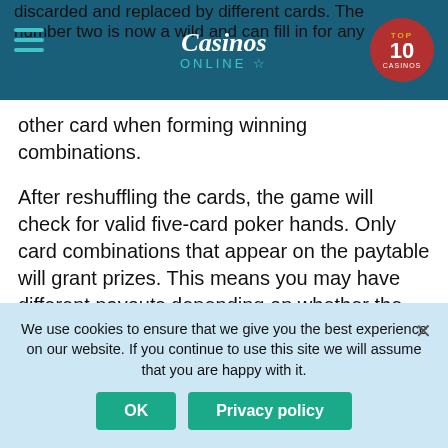discarded and replaced by different cards. The number two is now a wild and can fill in for any other card when forming winning combinations.
After reshuffling the cards, the game will check for valid five-card poker hands. Only card combinations that appear on the paytable will grant prizes. This means you may have different payouts depending on whether the Wild number two was involved in the winning combination.
WHERE TO PLAY LOOSE DEUCES BY
We use cookies to ensure that we give you the best experience on our website. If you continue to use this site we will assume that you are happy with it.